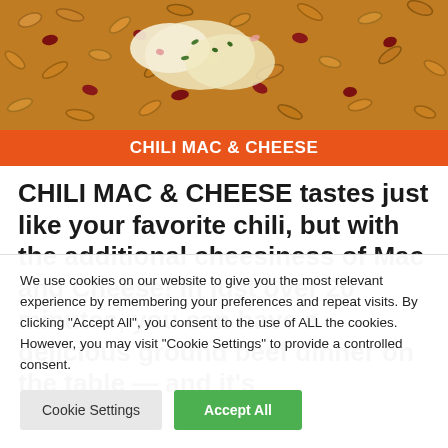[Figure (photo): Close-up photo of Chili Mac & Cheese dish — pasta with melted cheese, ground beef, and herbs]
CHILI MAC & CHEESE
CHILI MAC & CHEESE tastes just like your favorite chili, but with the additional cheesiness of Mac and Cheese! In just over 20 minutes, you can have a delicious ground beef dinner on the table — and it's
We use cookies on our website to give you the most relevant experience by remembering your preferences and repeat visits. By clicking "Accept All", you consent to the use of ALL the cookies. However, you may visit "Cookie Settings" to provide a controlled consent.